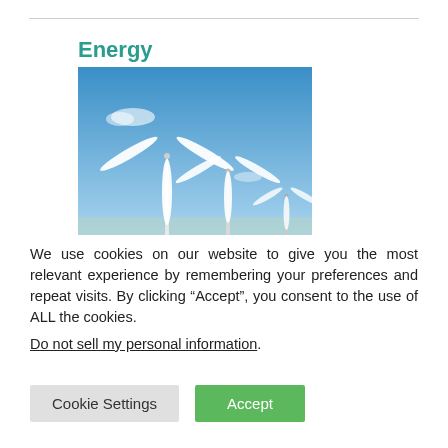Energy
[Figure (photo): Two white wind turbines against a blue sky with light clouds]
We use cookies on our website to give you the most relevant experience by remembering your preferences and repeat visits. By clicking “Accept”, you consent to the use of ALL the cookies.
Do not sell my personal information.
Cookie Settings  Accept